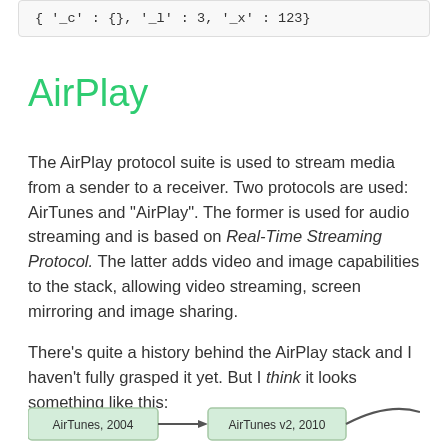{ '_c' : {}, '_l' : 3, '_x' : 123}
AirPlay
The AirPlay protocol suite is used to stream media from a sender to a receiver. Two protocols are used: AirTunes and “AirPlay”. The former is used for audio streaming and is based on Real-Time Streaming Protocol. The latter adds video and image capabilities to the stack, allowing video streaming, screen mirroring and image sharing.
There’s quite a history behind the AirPlay stack and I haven’t fully grasped it yet. But I think it looks something like this:
[Figure (flowchart): Partial view of a flowchart showing AirTunes 2004 and AirTunes v2, 2010 nodes with an arrow between them]